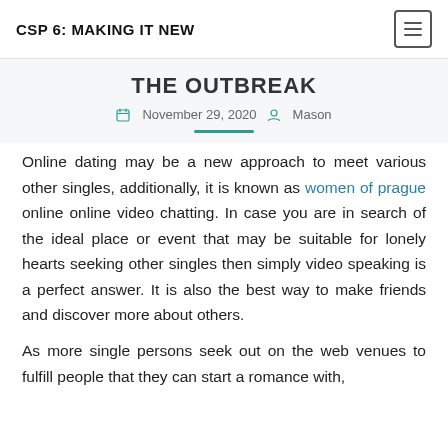CSP 6: MAKING IT NEW
THE OUTBREAK
November 29, 2020  Mason
Online dating may be a new approach to meet various other singles, additionally, it is known as women of prague online online video chatting. In case you are in search of the ideal place or event that may be suitable for lonely hearts seeking other singles then simply video speaking is a perfect answer. It is also the best way to make friends and discover more about others.
As more single persons seek out on the web venues to fulfill people that they can start a romance with,